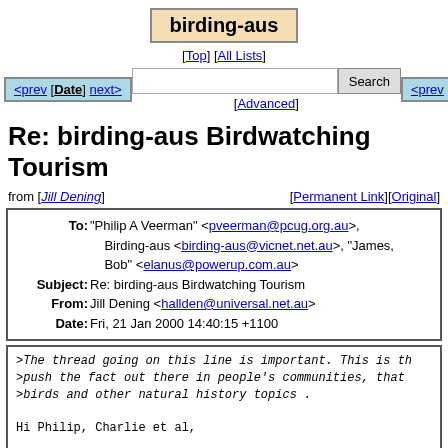birding-aus
[Top] [All Lists]
Search [Advanced]
<prev [Date] next>   <prev [T
Re: birding-aus Birdwatching Tourism
from [Jill Dening]   [Permanent Link][Original]
| To: | "Philip A Veerman" <pveerman@pcug.org.au>, Birding-aus <birding-aus@vicnet.net.au>, "James, Bob" <elanus@powerup.com.au> |
| Subject: | Re: birding-aus Birdwatching Tourism |
| From: | Jill Dening <hallden@universal.net.au> |
| Date: | Fri, 21 Jan 2000 14:40:15 +1100 |
>The thread going on this line is important. This is th
>push the fact out there in people's communities, that
>birds and other natural history topics .

Hi Philip, Charlie et al,

Some good points are being raised on this topic. There
having bird tours if there are insufficient birdwatcher
for operators to be viable.